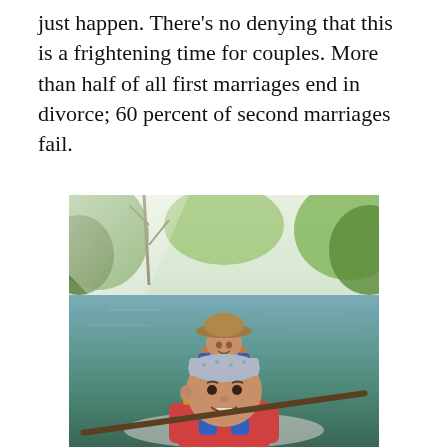just happen. There's no denying that this is a frightening time for couples. More than half of all first marriages end in divorce; 60 percent of second marriages fail.
[Figure (photo): Two women kayaking on a calm river surrounded by trees. The woman in the foreground is taking a selfie, wearing a patterned bandana and a red/pink life vest. The woman in the background wears a wide-brimmed hat and a blue life vest.]